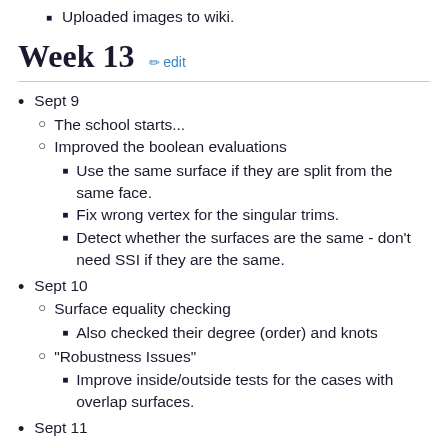Uploaded images to wiki.
Week 13
Sept 9
The school starts...
Improved the boolean evaluations
Use the same surface if they are split from the same face.
Fix wrong vertex for the singular trims.
Detect whether the surfaces are the same - don't need SSI if they are the same.
Sept 10
Surface equality checking
Also checked their degree (order) and knots
"Robustness Issues"
Improve inside/outside tests for the cases with overlap surfaces.
Sept 11